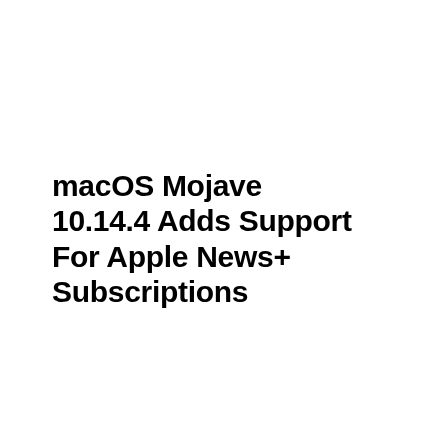macOS Mojave 10.14.4 Adds Support For Apple News+ Subscriptions